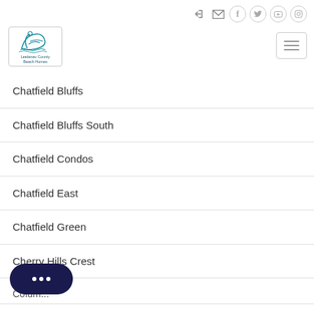[Figure (logo): Leelanau County Beach Homes logo with swan illustration, teal/blue colored, in a rounded rectangle border]
Chatfield Bluffs
Chatfield Bluffs South
Chatfield Condos
Chatfield East
Chatfield Green
Cherry Hills Crest